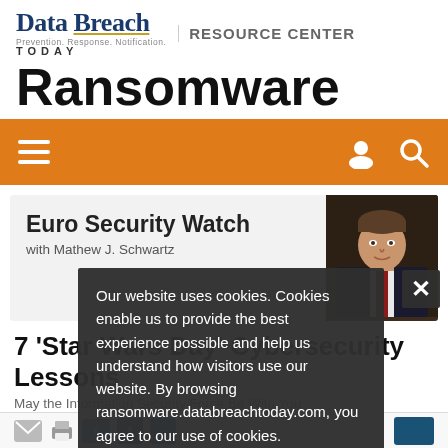[Figure (logo): Data Breach Today logo with 'Prevention. Response. Notification.' tagline and RESOURCE CENTER text]
Ransomware
[Figure (screenshot): Orange navigation bar with hamburger menu icon on left and user/search icons on right]
[Figure (photo): Euro Security Watch banner with photo of Mathew J. Schwartz]
Euro Security Watch
with Mathew J. Schwartz
7 'Star Wars Day' Cybersecurity Lessons
May the Information Security Force Be With You
Mathew J. Schwartz ...
Our website uses cookies. Cookies enable us to provide the best experience possible and help us understand how visitors use our website. By browsing ransomware.databreachtoday.com, you agree to our use of cookies.